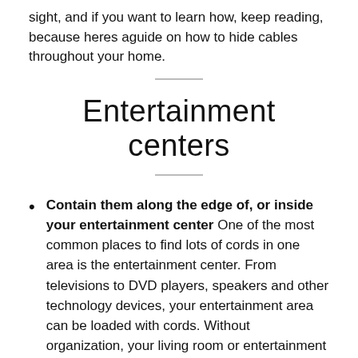sight, and if you want to learn how, keep reading, because heres aguide on how to hide cables throughout your home.
Entertainment centers
Contain them along the edge of, or inside your entertainment center One of the most common places to find lots of cords in one area is the entertainment center. From televisions to DVD players, speakers and other technology devices, your entertainment area can be loaded with cords. Without organization, your living room or entertainment room can be cluttered with jumbled-up cords and not only does it look messy, but it can